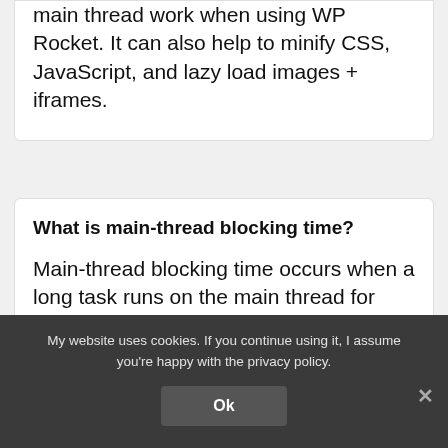main thread work when using WP Rocket. It can also help to minify CSS, JavaScript, and lazy load images + iframes.
What is main-thread blocking time?
Main-thread blocking time occurs when a long task runs on the main thread for over 50ms.
My website uses cookies. If you continue using it, I assume you're happy with the privacy policy.
Ok